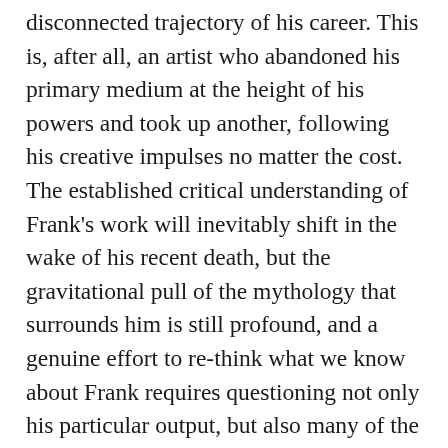disconnected trajectory of his career. This is, after all, an artist who abandoned his primary medium at the height of his powers and took up another, following his creative impulses no matter the cost. The established critical understanding of Frank's work will inevitably shift in the wake of his recent death, but the gravitational pull of the mythology that surrounds him is still profound, and a genuine effort to re-think what we know about Frank requires questioning not only his particular output, but also many of the fundamental assumptions that we take for granted about photography and its history. This is something that Frank himself was surely aware of. Having already made one era-defining masterpiece with his book The Americans, the remainder of his working life finds